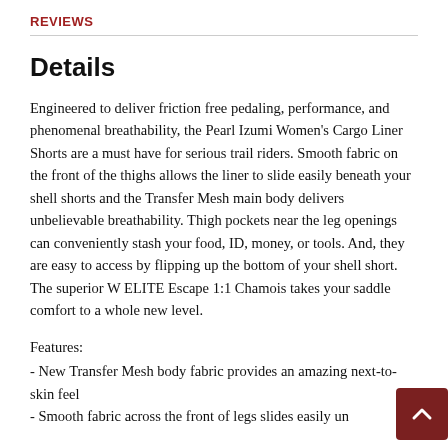REVIEWS
Details
Engineered to deliver friction free pedaling, performance, and phenomenal breathability, the Pearl Izumi Women's Cargo Liner Shorts are a must have for serious trail riders. Smooth fabric on the front of the thighs allows the liner to slide easily beneath your shell shorts and the Transfer Mesh main body delivers unbelievable breathability. Thigh pockets near the leg openings can conveniently stash your food, ID, money, or tools. And, they are easy to access by flipping up the bottom of your shell short. The superior W ELITE Escape 1:1 Chamois takes your saddle comfort to a whole new level.
Features:
- New Transfer Mesh body fabric provides an amazing next-to-skin feel
- Smooth fabric across the front of legs slides easily und... shell shorts providing friction free pedaling experience